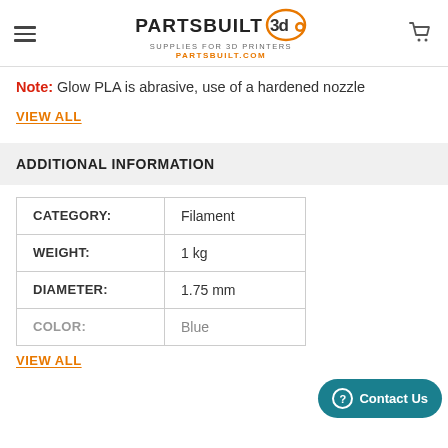PARTSBUILT 3D — Supplies for 3D Printers — PARTSBUILT.COM
Note: Glow PLA is abrasive, use of a hardened nozzle
VIEW ALL
ADDITIONAL INFORMATION
|  |  |
| --- | --- |
| CATEGORY: | Filament |
| WEIGHT: | 1 kg |
| DIAMETER: | 1.75 mm |
| COLOR: | Blue |
VIEW ALL